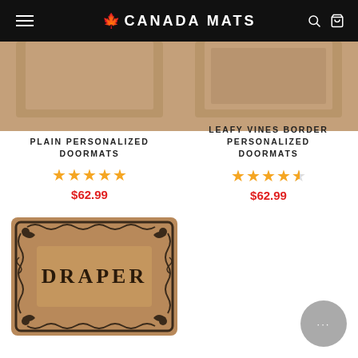Canada Mats
[Figure (photo): Partial product image of Plain Personalized Doormat (top cropped)]
[Figure (photo): Partial product image of Leafy Vines Border Personalized Doormat (top cropped)]
PLAIN PERSONALIZED DOORMATS
★★★★★
$62.99
LEAFY VINES BORDER PERSONALIZED DOORMATS
★★★★½
$62.99
[Figure (photo): Personalized doormat with ornate border design and text DRAPER]